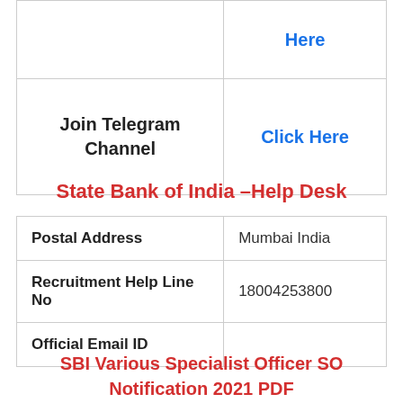|  | Here |
| Join Telegram Channel | Click Here |
State Bank of India –Help Desk
| Postal Address | Mumbai India |
| Recruitment Help Line No | 18004253800 |
| Official Email ID |  |
SBI Various Specialist Officer SO Notification 2021 PDF